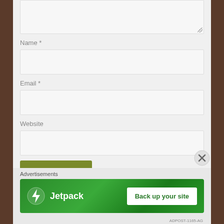[Figure (screenshot): A comment form section showing a textarea (partially visible at top), followed by Name, Email, and Website text input fields, a 'Post Comment' button, and at the bottom an Advertisements section with a Jetpack 'Back up your site' banner ad. A close (X) button appears at the bottom right of the main content area.]
Name *
Email *
Website
Post Comment
Advertisements
Jetpack
Back up your site